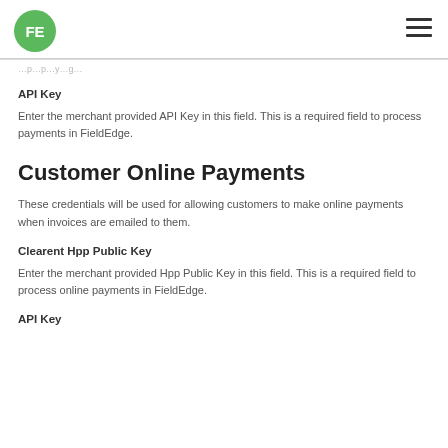FE
API Key
Enter the merchant provided API Key in this field. This is a required field to process payments in FieldEdge.
Customer Online Payments
These credentials will be used for allowing customers to make online payments when invoices are emailed to them.
Clearent Hpp Public Key
Enter the merchant provided Hpp Public Key in this field. This is a required field to process online payments in FieldEdge.
API Key